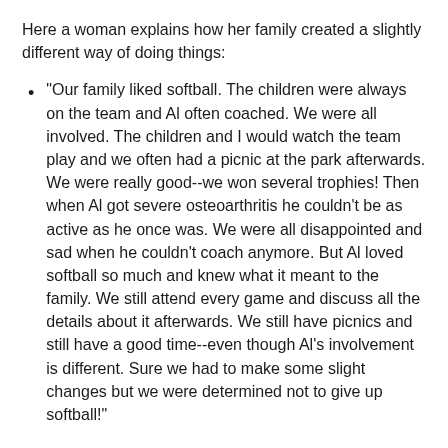Here a woman explains how her family created a slightly different way of doing things:
"Our family liked softball. The children were always on the team and Al often coached. We were all involved. The children and I would watch the team play and we often had a picnic at the park afterwards. We were really good--we won several trophies! Then when Al got severe osteoarthritis he couldn't be as active as he once was. We were all disappointed and sad when he couldn't coach anymore. But Al loved softball so much and knew what it meant to the family. We still attend every game and discuss all the details about it afterwards. We still have picnics and still have a good time--even though Al's involvement is different. Sure we had to make some slight changes but we were determined not to give up softball!"